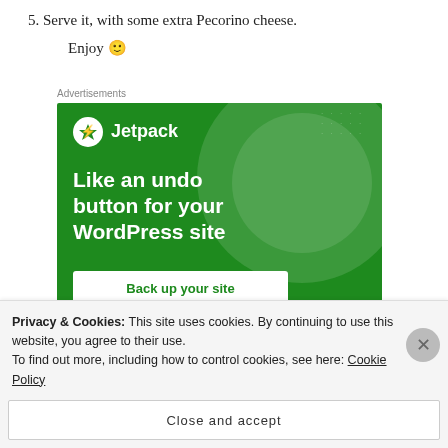5. Serve it, with some extra Pecorino cheese.
Enjoy 🙂
Advertisements
[Figure (other): Jetpack advertisement banner on a green background. Shows Jetpack logo and text: 'Like an undo button for your WordPress site' with a 'Back up your site' button.]
Privacy & Cookies: This site uses cookies. By continuing to use this website, you agree to their use.
To find out more, including how to control cookies, see here: Cookie Policy
Close and accept